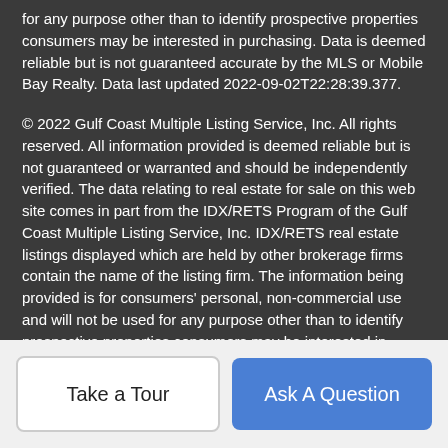for any purpose other than to identify prospective properties consumers may be interested in purchasing. Data is deemed reliable but is not guaranteed accurate by the MLS or Mobile Bay Realty. Data last updated 2022-09-02T22:28:39.377.
© 2022 Gulf Coast Multiple Listing Service, Inc. All rights reserved. All information provided is deemed reliable but is not guaranteed or warranted and should be independently verified. The data relating to real estate for sale on this web site comes in part from the IDX/RETS Program of the Gulf Coast Multiple Listing Service, Inc. IDX/RETS real estate listings displayed which are held by other brokerage firms contain the name of the listing firm. The information being provided is for consumers' personal, non-commercial use and will not be used for any purpose other than to identify prospective properties consumers may be interested in purchasing. Data last updated: 2022-09-02T22:45:24.917.
Mobile Bay Realty